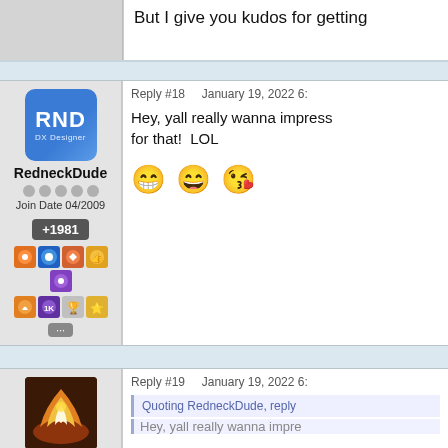But I give you kudos for getting
Reply #18    January 19, 2022 6:
RedneckDude
Join Date 04/2009
+1981
Hey, yall really wanna impress for that!  LOL
Reply #19    January 19, 2022 6:
PhoenixRising1
Join Date 08/2021
Quoting RedneckDude, reply
Hey, yall really wanna impre